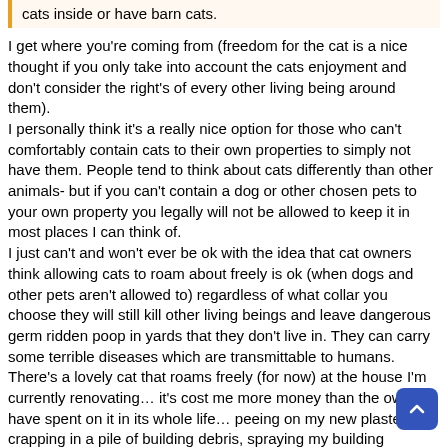cats inside or have barn cats.
I get where you're coming from (freedom for the cat is a nice thought if you only take into account the cats enjoyment and don't consider the right's of every other living being around them).
I personally think it's a really nice option for those who can't comfortably contain cats to their own properties to simply not have them. People tend to think about cats differently than other animals- but if you can't contain a dog or other chosen pets to your own property you legally will not be allowed to keep it in most places I can think of.
I just can't and won't ever be ok with the idea that cat owners think allowing cats to roam about freely is ok (when dogs and other pets aren't allowed to) regardless of what collar you choose they will still kill other living beings and leave dangerous germ ridden poop in yards that they don't live in. They can carry some terrible diseases which are transmittable to humans.
There's a lovely cat that roams freely (for now) at the house I'm currently renovating… it's cost me more money than the owners have spent on it in its whole life… peeing on my new plaster and crapping in a pile of building debris, spraying my building material deliveries with urine - I have also had to replace new plaster and new flooring as they were raw materials not yet covered with protective flooring paint and should this get to the site and